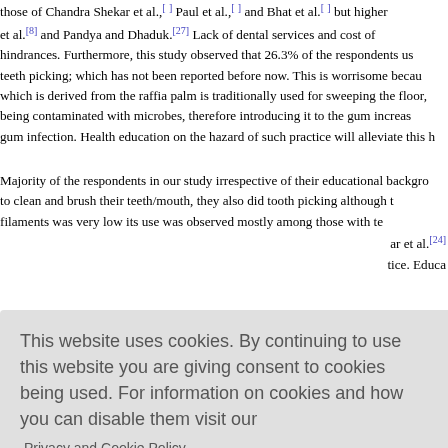those of Chandra Shekar et al., Paul et al., and Bhat et al. but higher et al.[8] and Pandya and Dhaduk.[27] Lack of dental services and cost of hindrances. Furthermore, this study observed that 26.3% of the respondents used teeth picking; which has not been reported before now. This is worrisome because which is derived from the raffia palm is traditionally used for sweeping the floor, being contaminated with microbes, therefore introducing it to the gum increases gum infection. Health education on the hazard of such practice will alleviate this h
Majority of the respondents in our study irrespective of their educational background to clean and brush their teeth/mouth, they also did tooth picking although filaments was very low its use was observed mostly among those with te ar et al.[24] tice. Educa
This website uses cookies. By continuing to use this website you are giving consent to cookies being used. For information on cookies and how you can disable them visit our Privacy and Cookie Policy.
AGREE & PROCEED
poor though them do ora eptably low practitioner should use every opportunity of patient contact for oral health education